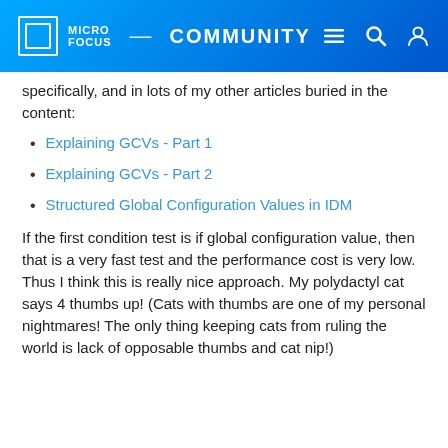MICRO FOCUS COMMUNITY
specifically, and in lots of my other articles buried in the content:
Explaining GCVs - Part 1
Explaining GCVs - Part 2
Structured Global Configuration Values in IDM
If the first condition test is if global configuration value, then that is a very fast test and the performance cost is very low. Thus I think this is really nice approach. My polydactyl cat says 4 thumbs up! (Cats with thumbs are one of my personal nightmares! The only thing keeping cats from ruling the world is lack of opposable thumbs and cat nip!)